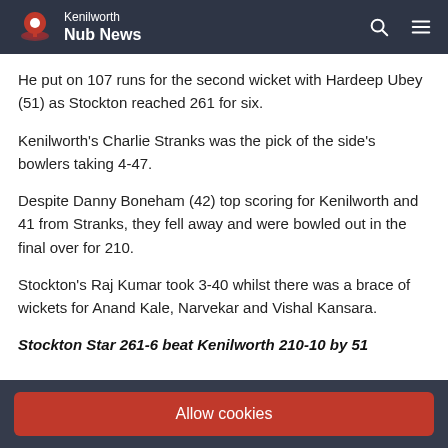Kenilworth Nub News
He put on 107 runs for the second wicket with Hardeep Ubey (51) as Stockton reached 261 for six.
Kenilworth's Charlie Stranks was the pick of the side's bowlers taking 4-47.
Despite Danny Boneham (42) top scoring for Kenilworth and 41 from Stranks, they fell away and were bowled out in the final over for 210.
Stockton's Raj Kumar took 3-40 whilst there was a brace of wickets for Anand Kale, Narvekar and Vishal Kansara.
Stockton Star 261-6 beat Kenilworth 210-10 by 51
Allow cookies